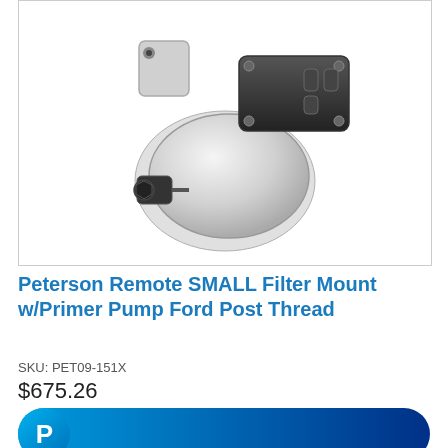[Figure (photo): Peterson Remote SMALL Filter Mount with Primer Pump Ford Post Thread product photo showing a polished aluminum and black pump assembly with fittings]
Peterson Remote SMALL Filter Mount w/Primer Pump Ford Post Thread
SKU: PET09-151X
$675.26
[Figure (other): PayPal checkout button with PayPal logo P icon on a blue gradient rounded rectangle]